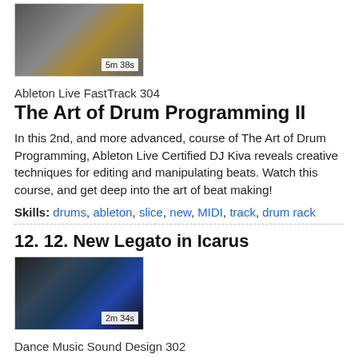[Figure (screenshot): Thumbnail screenshot of Ableton Live drum programming interface with time badge '5m 38s']
Ableton Live FastTrack 304
The Art of Drum Programming II
In this 2nd, and more advanced, course of The Art of Drum Programming, Ableton Live Certified DJ Kiva reveals creative techniques for editing and manipulating beats. Watch this course, and get deep into the art of beat making!
Skills: drums, ableton, slice, new, MIDI, track, drum rack
12. 12. New Legato in Icarus
[Figure (screenshot): Thumbnail screenshot of Icarus synthesizer plugin interface with time badge '2m 34s']
Dance Music Sound Design 302
Lead Synths Advanced
Adam Pollard is back with plenty of advanced synthesis tips to help you design better Dance Music lead synth sounds. Join him, and get ready to take your EDM leads from good to outstanding!